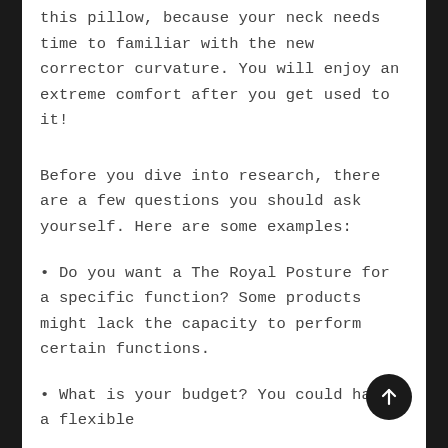this pillow, because your neck needs time to familiar with the new corrector curvature. You will enjoy an extreme comfort after you get used to it!
Before you dive into research, there are a few questions you should ask yourself. Here are some examples:
• Do you want a The Royal Posture for a specific function? Some products might lack the capacity to perform certain functions.
• What is your budget? You could have a flexible